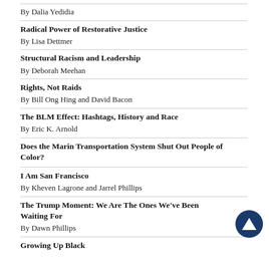By Dalia Yedidia
Radical Power of Restorative Justice
By Lisa Dettmer
Structural Racism and Leadership
By Deborah Meehan
Rights, Not Raids
By Bill Ong Hing and David Bacon
The BLM Effect: Hashtags, History and Race
By Eric K. Arnold
Does the Marin Transportation System Shut Out People of Color?
I Am San Francisco
By Kheven Lagrone and Jarrel Phillips
The Trump Moment: We Are The Ones We've Been Waiting For
By Dawn Phillips
Growing Up Black